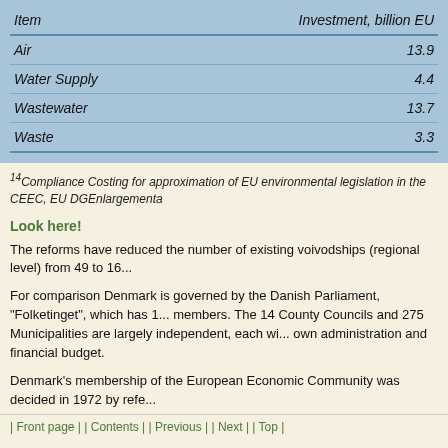| Item | Investment, billion EU |
| --- | --- |
| Air | 13.9 |
| Water Supply | 4.4 |
| Wastewater | 13.7 |
| Waste | 3.3 |
14Compliance Costing for approximation of EU environmental legislation in the CEEC, EU DGEnlargementa
Look here!
The reforms have reduced the number of existing voivodships (regional level) from 49 to 16...
For comparison Denmark is governed by the Danish Parliament, "Folketinget", which has 1... members. The 14 County Councils and 275 Municipalities are largely independent, each wi... own administration and financial budget.
Denmark's membership of the European Economic Community was decided in 1972 by refe...
| Front page | | Contents | | Previous | | Next | | Top |